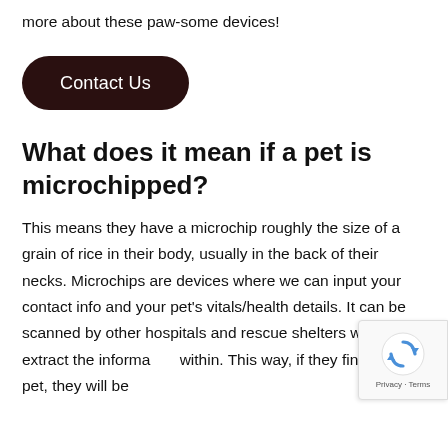more about these paw-some devices!
[Figure (other): Dark brown rounded rectangle button labeled 'Contact Us']
What does it mean if a pet is microchipped?
This means they have a microchip roughly the size of a grain of rice in their body, usually in the back of their necks. Microchips are devices where we can input your contact info and your pet's vitals/health details. It can be scanned by other hospitals and rescue shelters who can extract the information within. This way, if they find your pet, they will be
[Figure (other): reCAPTCHA widget overlay in bottom-right corner showing recycling arrows logo and 'Privacy - Terms' text]